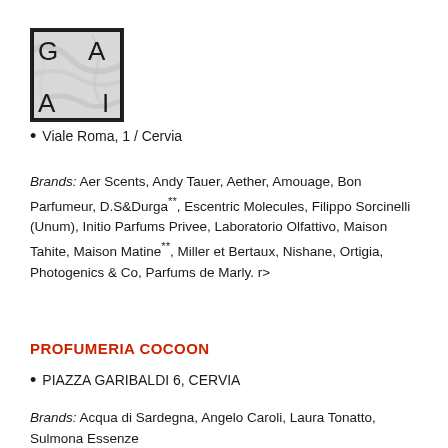[Figure (logo): GAIA logo — square box with marble texture background and large letters G, A, A, I in corners]
Viale Roma, 1 / Cervia
Brands: Aer Scents, Andy Tauer, Aether, Amouage, Bon Parfumeur, D.S&Durga**, Escentric Molecules, Filippo Sorcinelli (Unum), Initio Parfums Privee, Laboratorio Olfattivo, Maison Tahite, Maison Matine**, Miller et Bertaux, Nishane, Ortigia, Photogenics & Co, Parfums de Marly. r>
PROFUMERIA COCOON
PIAZZA GARIBALDI 6, CERVIA
Brands: Acqua di Sardegna, Angelo Caroli, Laura Tonatto, Sulmona Essenze